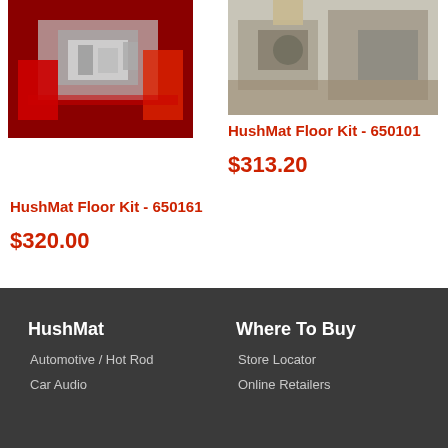[Figure (photo): Photo of automotive floor insulation installation with red car interior visible]
[Figure (photo): Photo of person installing HushMat floor insulation material]
HushMat Floor Kit - 650101
$313.20
HushMat Floor Kit - 650161
$320.00
HushMat
Automotive / Hot Rod
Car Audio
Where To Buy
Store Locator
Online Retailers